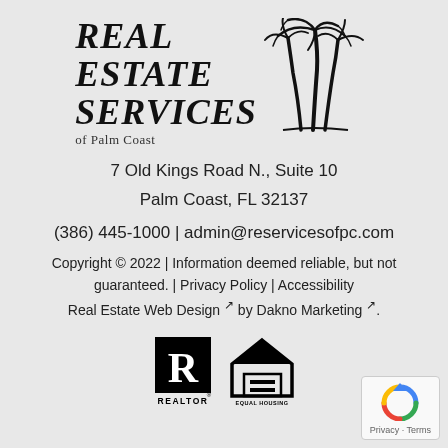[Figure (logo): Real Estate Services of Palm Coast logo with palm tree illustration and bold italic serif text]
7 Old Kings Road N., Suite 10
Palm Coast, FL 32137
(386) 445-1000 | admin@reservicesofpc.com
Copyright © 2022 | Information deemed reliable, but not guaranteed. | Privacy Policy | Accessibility
Real Estate Web Design ↗ by Dakno Marketing ↗.
[Figure (logo): REALTOR logo (R in rectangle) and Equal Housing Opportunity logo]
[Figure (other): reCAPTCHA badge with Privacy and Terms links]